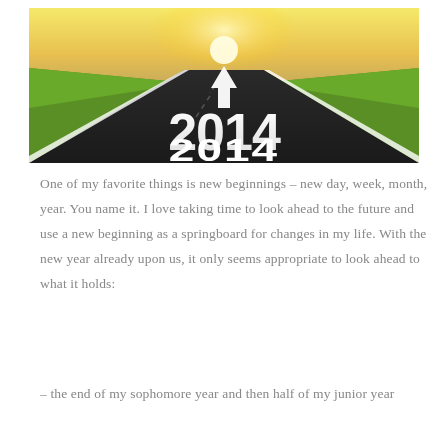[Figure (photo): A road leading into the distance with bright sunlight at the horizon, a white upward arrow painted on the road, and large white '2014' text painted on the road surface.]
One of my favorite things is new beginnings – new day, week, month, year. You name it. I love taking time to look ahead to the future and use a new beginning as a springboard for changes in my life. With the new year already upon us, it only seems appropriate to look ahead to what it holds:
– the end of my sophomore year and then half of my junior year